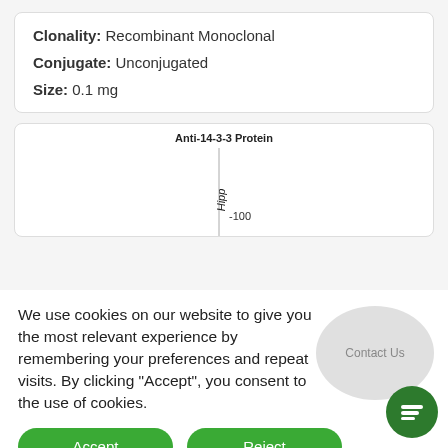Clonality: Recombinant Monoclonal
Conjugate: Unconjugated
Size: 0.1 mg
[Figure (other): Partial western blot image for Anti-14-3-3 Protein showing a band at ~100 kDa labeled 'Hipp']
We use cookies on our website to give you the most relevant experience by remembering your preferences and repeat visits. By clicking “Accept”, you consent to the use of cookies.
Accept
Reject